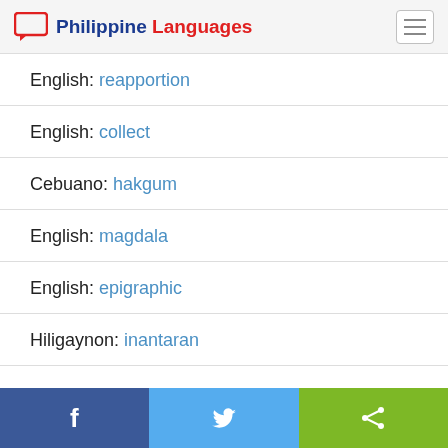Philippine Languages
English: reapportion
English: collect
Cebuano: hakgum
English: magdala
English: epigraphic
Hiligaynon: inantaran
Facebook | Twitter | Share